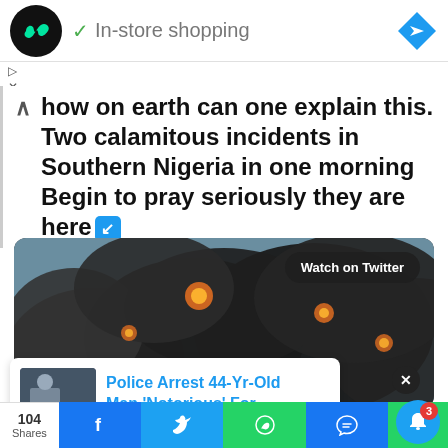[Figure (screenshot): Ad banner with black circular logo with infinity symbol, green checkmark, 'In-store shopping' text, and blue diamond navigation icon]
how on earth can one explain this. Two calamitous incidents in Southern Nigeria in one morning Begin to pray seriously they are here 🔽
[Figure (photo): Dark smoke clouds with orange flames visible, video thumbnail with 'Watch on Twitter' button overlay]
Police Arrest 44-Yr-Old Man 'Notorious' For
5 hours ago
104 Shares